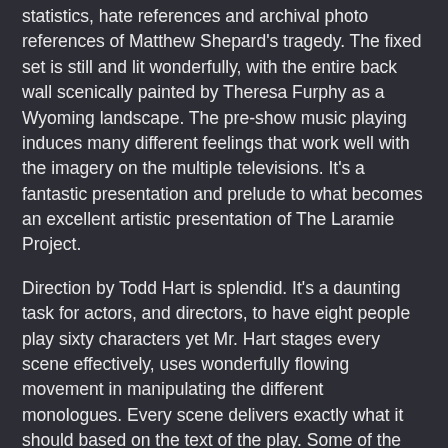statistics, hate references and archival photo references of Matthew Shepard's tragedy. The fixed set is still and lit wonderfully, with the entire back wall scenically painted by Theresa Furphy as a Wyoming landscape. The pre-show music playing induces many different feelings that work well with the imagery on the multiple televisions. It's a fantastic presentation and prelude to what becomes an excellent artistic presentation of The Laramie Project.
Direction by Todd Hart is splendid. It's a daunting task for actors, and directors, to have eight people play sixty characters yet Mr. Hart stages every scene effectively, uses wonderfully flowing movement in manipulating the different monologues. Every scene delivers exactly what it should based on the text of the play. Some of the scenes in this production are difficult to watch and Mr. Hart gives them to you perfectly raw yet balanced. You are never once removed from the story and you are locked in to every word by his very talented cast.
Max Marquez's technical direction is professional and executed very well. There are difficult technical aspects in this production and if